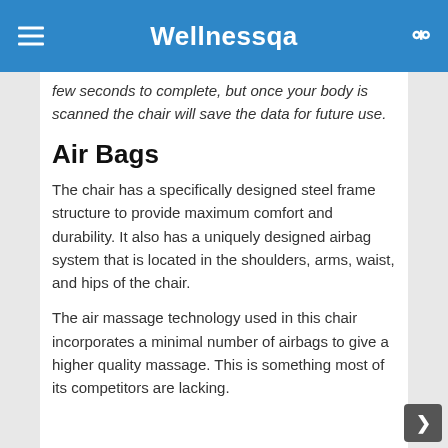Wellnessqa
few seconds to complete, but once your body is scanned the chair will save the data for future use.
Air Bags
The chair has a specifically designed steel frame structure to provide maximum comfort and durability. It also has a uniquely designed airbag system that is located in the shoulders, arms, waist, and hips of the chair.
The air massage technology used in this chair incorporates a minimal number of airbags to give a higher quality massage. This is something most of its competitors are lacking.